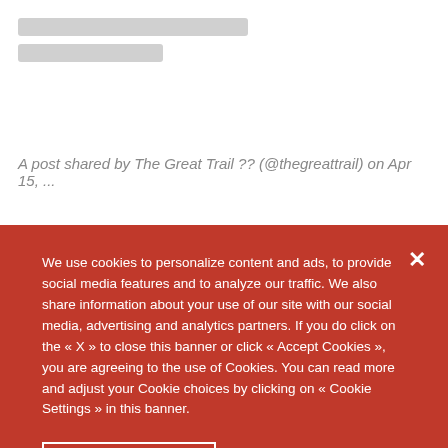[Figure (screenshot): Skeleton loading placeholder bars (gray rectangles) indicating content loading]
A post shared by The Great Trail ?? (@thegreattrail) on Apr 15, ...
Part of The Great Trail (Trans Canada Trail), the Chief ...
We use cookies to personalize content and ads, to provide social media features and to analyze our traffic. We also share information about your use of our site with our social media, advertising and analytics partners. If you do click on the « X » to close this banner or click « Accept Cookies », you are agreeing to the use of Cookies. You can read more and adjust your Cookie choices by clicking on « Cookie Settings » in this banner.
Cookie Settings
Accept All Cookies